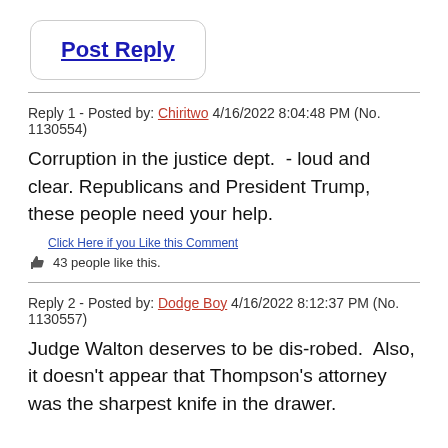[Figure (other): Post Reply button with rounded rectangle border]
Reply 1 - Posted by: Chiritwo 4/16/2022 8:04:48 PM (No. 1130554)
Corruption in the justice dept.  - loud and clear. Republicans and President Trump, these people need your help.
Click Here if you Like this Comment
43 people like this.
Reply 2 - Posted by: Dodge Boy 4/16/2022 8:12:37 PM (No. 1130557)
Judge Walton deserves to be dis-robed.  Also, it doesn't appear that Thompson's attorney was the sharpest knife in the drawer.